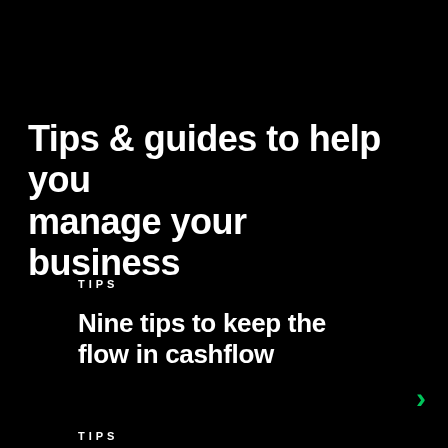Tips & guides to help you manage your business
TIPS
Nine tips to keep the flow in cashflow
TIPS